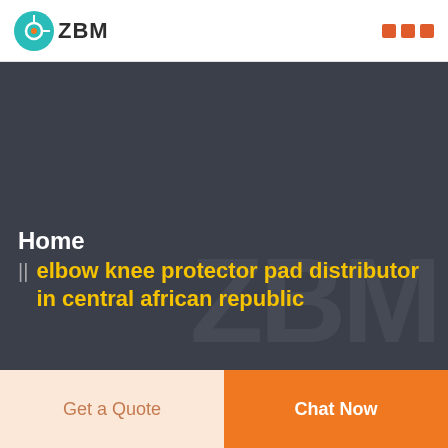ZBM
Home
elbow knee protector pad distributor in central african republic
Get a Quote
Chat Now